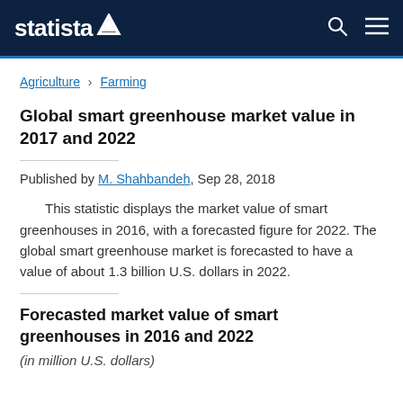statista
Agriculture › Farming
Global smart greenhouse market value in 2017 and 2022
Published by M. Shahbandeh, Sep 28, 2018
This statistic displays the market value of smart greenhouses in 2016, with a forecasted figure for 2022. The global smart greenhouse market is forecasted to have a value of about 1.3 billion U.S. dollars in 2022.
Forecasted market value of smart greenhouses in 2016 and 2022
(in million U.S. dollars)